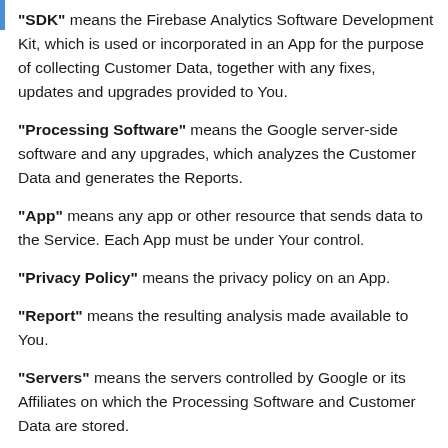"SDK" means the Firebase Analytics Software Development Kit, which is used or incorporated in an App for the purpose of collecting Customer Data, together with any fixes, updates and upgrades provided to You.
"Processing Software" means the Google server-side software and any upgrades, which analyzes the Customer Data and generates the Reports.
"App" means any app or other resource that sends data to the Service. Each App must be under Your control.
"Privacy Policy" means the privacy policy on an App.
"Report" means the resulting analysis made available to You.
"Servers" means the servers controlled by Google or its Affiliates on which the Processing Software and Customer Data are stored.